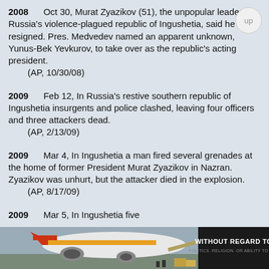2008   Oct 30, Murat Zyazikov (51), the unpopular leader of Russia's violence-plagued republic of Ingushetia, said he has resigned. Pres. Medvedev named an apparent unknown, Yunus-Bek Yevkurov, to take over as the republic's acting president.
    (AP, 10/30/08)
2009   Feb 12, In Russia's restive southern republic of Ingushetia insurgents and police clashed, leaving four officers and three attackers dead.
    (AP, 2/13/09)
2009   Mar 4, In Ingushetia a man fired several grenades at the home of former President Murat Zyazikov in Nazran. Zyazikov was unhurt, but the attacker died in the explosion.
    (AP, 8/17/09)
2009   Mar 5, In Ingushetia five
[Figure (photo): Advertisement banner at bottom of page showing an airplane being loaded with cargo, with a dark panel on the right reading 'WITHOUT REGARD TO' in white bold text with smaller text below.]